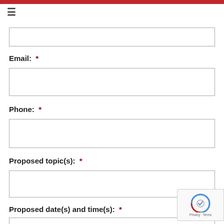Email:  *
Phone:  *
Proposed topic(s):  *
Proposed date(s) and time(s):  *